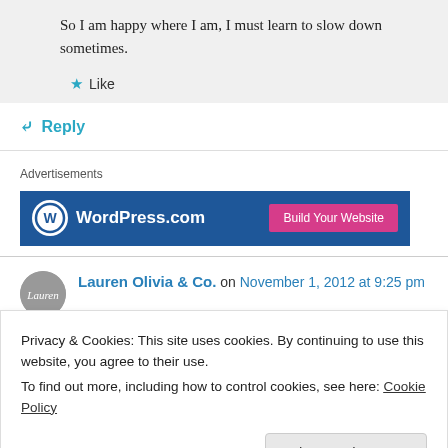So I am happy where I am, I must learn to slow down sometimes.
★ Like
↳ Reply
Advertisements
[Figure (screenshot): WordPress.com banner ad with blue background, WordPress logo on left, and pink 'Build Your Website' button on right]
Lauren Olivia & Co. on November 1, 2012 at 9:25 pm
Privacy & Cookies: This site uses cookies. By continuing to use this website, you agree to their use.
To find out more, including how to control cookies, see here: Cookie Policy
Close and accept